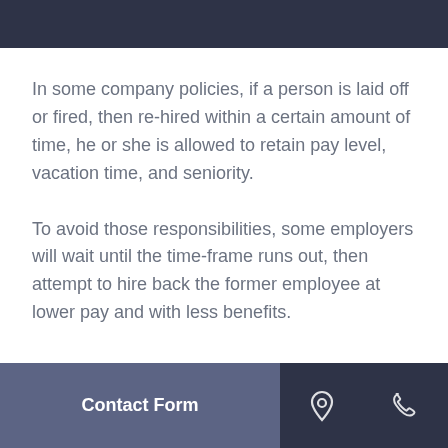In some company policies, if a person is laid off or fired, then re-hired within a certain amount of time, he or she is allowed to retain pay level, vacation time, and seniority.
To avoid those responsibilities, some employers will wait until the time-frame runs out, then attempt to hire back the former employee at lower pay and with less benefits.
Contact Form